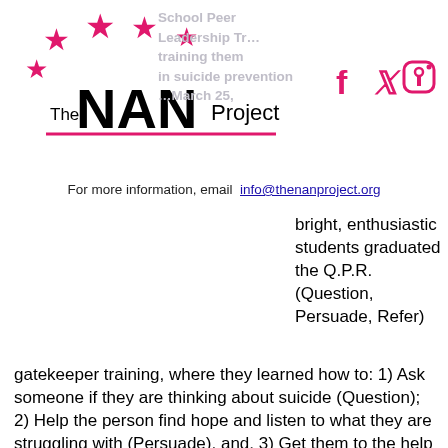[Figure (logo): The NAN Project logo with pink stars and pink underline]
[Figure (logo): Social media icons: Facebook, Twitter, Instagram in pink]
School Peer Leadership Tr…
training them
in suicide prevention
…March 25,
For more information, email info@thenanproject.org
bright, enthusiastic students graduated the Q.P.R. (Question, Persuade, Refer) gatekeeper training, where they learned how to: 1) Ask someone if they are thinking about suicide (Question); 2) Help the person find hope and listen to what they are struggling with (Persuade), and, 3) Get them to the help that they need (Refer). (A small anecdote: when we met with the Peer Leaders about a month later, one of the students approached us and stated how fortunate he received the training when he did as a friend was struggling and he felt empowered to get his friend the